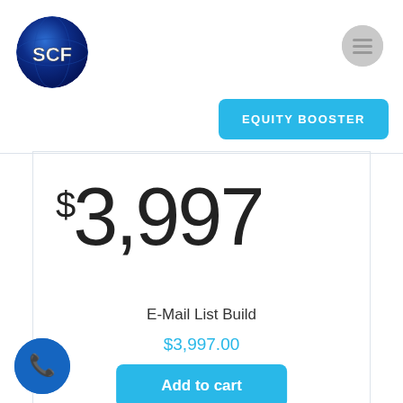[Figure (logo): SCF logo circle with globe/earth background and bold white text 'SCF']
[Figure (other): Hamburger menu icon (3 horizontal lines) in a grey circle]
EQUITY BOOSTER
$3,997
E-Mail List Build
$3,997.00
Add to cart
[Figure (other): Blue circle phone/call button with white telephone icon]